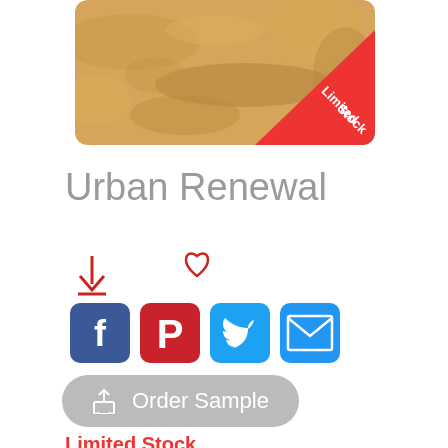[Figure (photo): Product tile sample image showing a sandy/beige textured stone or laminate surface with a 'Limited Stock' red triangle badge in the bottom-right corner]
Urban Renewal
[Figure (infographic): Row of action icons: download icon, heart/wishlist icon, Facebook share button, Pinterest share button, Twitter share button, Email share button]
Order Sample
Limited Stock